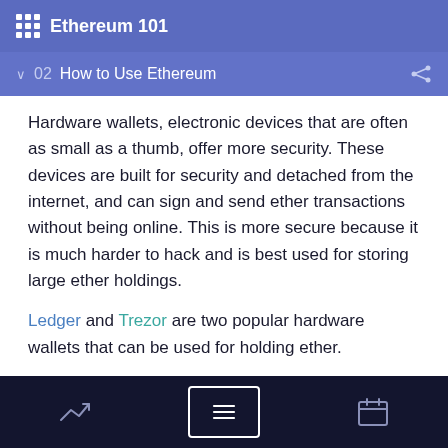Ethereum 101
02  How to Use Ethereum
Hardware wallets, electronic devices that are often as small as a thumb, offer more security. These devices are built for security and detached from the internet, and can sign and send ether transactions without being online. This is more secure because it is much harder to hack and is best used for storing large ether holdings.
Ledger and Trezor are two popular hardware wallets that can be used for holding ether.
Paper wallets
Another cold storage option is to print or
navigation bar